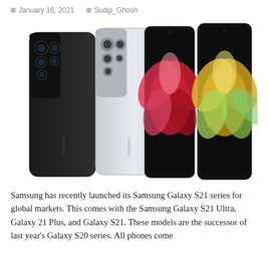January 16, 2021   Sudip_Ghosh
[Figure (photo): Four Samsung Galaxy S21 Ultra smartphones shown from the back and front. Two phones on the left show the rear with prominent camera modules — one in black, one in silver. Two phones on the right show the front displays with colorful flower wallpapers — one with red/pink flowers, one with yellow/green flowers.]
Samsung has recently launched its Samsung Galaxy S21 series for global markets. This comes with the Samsung Galaxy S21 Ultra, Galaxy 21 Plus, and Galaxy S21. These models are the successor of last year's Galaxy S20 series. All phones come